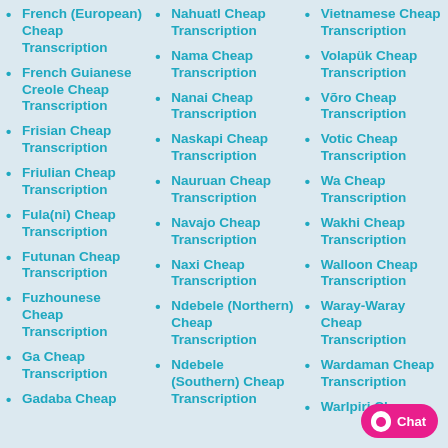French (European) Cheap Transcription
French Guianese Creole Cheap Transcription
Frisian Cheap Transcription
Friulian Cheap Transcription
Fula(ni) Cheap Transcription
Futunan Cheap Transcription
Fuzhounese Cheap Transcription
Ga Cheap Transcription
Gadaba Cheap
Nahuatl Cheap Transcription
Nama Cheap Transcription
Nanai Cheap Transcription
Naskapi Cheap Transcription
Nauruan Cheap Transcription
Navajo Cheap Transcription
Naxi Cheap Transcription
Ndebele (Northern) Cheap Transcription
Ndebele (Southern) Cheap Transcription
Vietnamese Cheap Transcription
Volapük Cheap Transcription
Võro Cheap Transcription
Votic Cheap Transcription
Wa Cheap Transcription
Wakhi Cheap Transcription
Walloon Cheap Transcription
Waray-Waray Cheap Transcription
Wardaman Cheap Transcription
Warlpiri Cheap